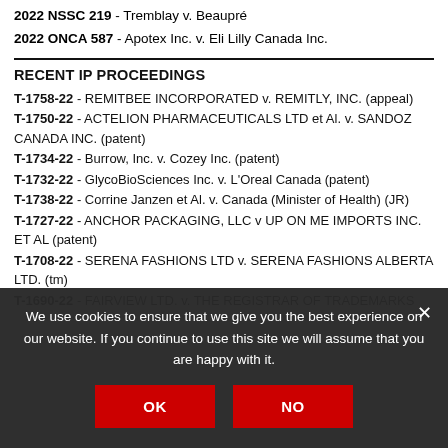2022 NSSC 219 - Tremblay v. Beaupré
2022 ONCA 587 - Apotex Inc. v. Eli Lilly Canada Inc.
RECENT IP PROCEEDINGS
T-1758-22 - REMITBEE INCORPORATED v. REMITLY, INC. (appeal)
T-1750-22 - ACTELION PHARMACEUTICALS LTD et Al. v. SANDOZ CANADA INC. (patent)
T-1734-22 - Burrow, Inc. v. Cozey Inc. (patent)
T-1732-22 - GlycoBioSciences Inc. v. L'Oreal Canada (patent)
T-1738-22 - Corrine Janzen et Al. v. Canada (Minister of Health) (JR)
T-1727-22 - ANCHOR PACKAGING, LLC v UP ON ME IMPORTS INC. ET AL (patent)
T-1708-22 - SERENA FASHIONS LTD v. SERENA FASHIONS ALBERTA LTD. (tm)
T-1690-22 - FAIRVIEW LTD. v. THE REGISTRAR OF TRADEMARKS
We use cookies to ensure that we give you the best experience on our website. If you continue to use this site we will assume that you are happy with it.